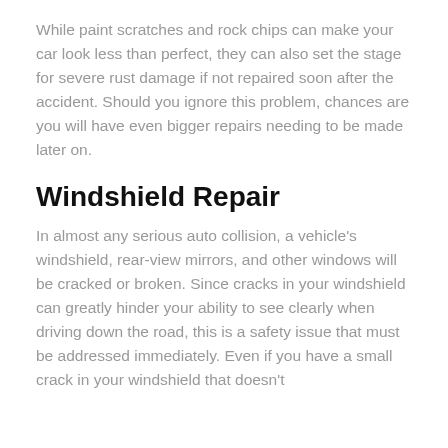While paint scratches and rock chips can make your car look less than perfect, they can also set the stage for severe rust damage if not repaired soon after the accident. Should you ignore this problem, chances are you will have even bigger repairs needing to be made later on.
Windshield Repair
In almost any serious auto collision, a vehicle's windshield, rear-view mirrors, and other windows will be cracked or broken. Since cracks in your windshield can greatly hinder your ability to see clearly when driving down the road, this is a safety issue that must be addressed immediately. Even if you have a small crack in your windshield that doesn't